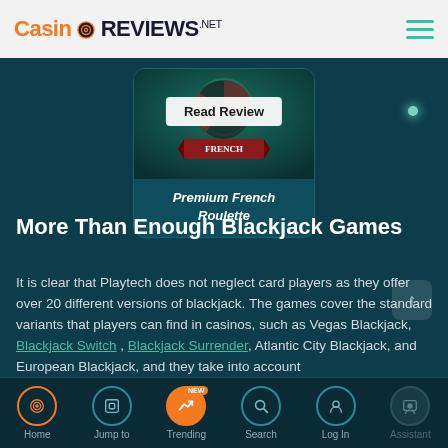Casino Reviews .net
[Figure (screenshot): Game card for Premium French Roulette with a 'Read Review' button overlay on a dark teal game thumbnail showing a roulette sign]
Premium French Roulette
More Than Enough Blackjack Games
It is clear that Playtech does not neglect card players as they offer over 20 different versions of blackjack. The games cover the standard variants that players can find in casinos, such as Vegas Blackjack, Blackjack Switch , Blackjack Surrender, Atlantic City Blackjack, and European Blackjack, and they take into account
Home  Jump to  Trending  Search  Log In  Assistant